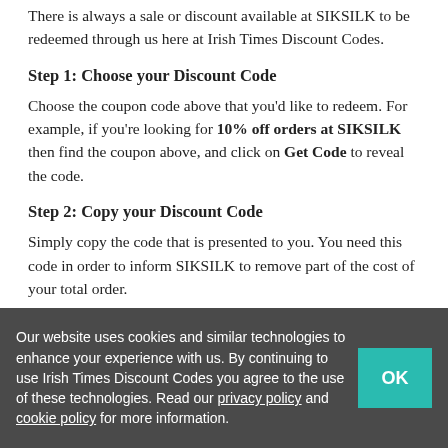There is always a sale or discount available at SIKSILK to be redeemed through us here at Irish Times Discount Codes.
Step 1: Choose your Discount Code
Choose the coupon code above that you'd like to redeem. For example, if you're looking for 10% off orders at SIKSILK then find the coupon above, and click on Get Code to reveal the code.
Step 2: Copy your Discount Code
Simply copy the code that is presented to you. You need this code in order to inform SIKSILK to remove part of the cost of your total order.
Step 3: Shop away!
Find the item you'd like to purchase at SIKSILK and just
Our website uses cookies and similar technologies to enhance your experience with us. By continuing to use Irish Times Discount Codes you agree to the use of these technologies. Read our privacy policy and cookie policy for more information.